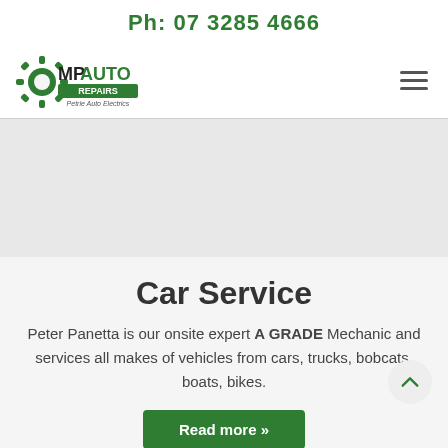Ph: 07 3285 4666
[Figure (logo): MP Auto Repairs logo with green gear icon and text 'MP AUTO REPAIRS - Petrie Auto Electrics']
Car Service
Peter Panetta is our onsite expert A GRADE Mechanic and services all makes of vehicles from cars, trucks, bobcats, boats, bikes.
Read more »